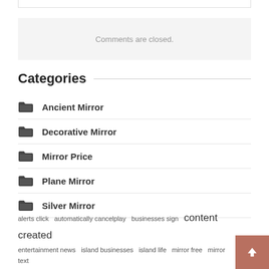Comments are closed.
Categories
Ancient Mirror
Decorative Mirror
Mirror Price
Plane Mirror
Silver Mirror
alerts click  automatically cancelplay  businesses sign  content created  entertainment news  island businesses  island life  mirror free  mirror text